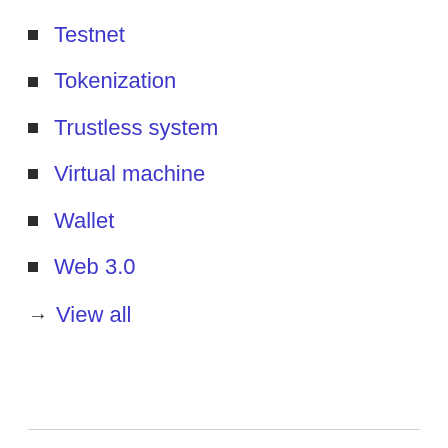Testnet
Tokenization
Trustless system
Virtual machine
Wallet
Web 3.0
→ View all